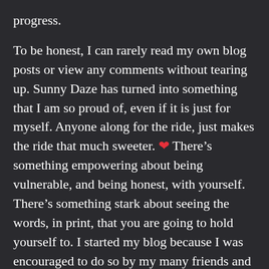progress.
To be honest, I can rarely read my own blog posts or view any comments without tearing up. Sunny Daze has turned into something that I am so proud of, even if it is just for myself. Anyone along for the ride, just makes the ride that much sweeter. ❤ There's something empowering about being vulnerable, and being honest, with yourself. There's something stark about seeing the words, in print, that you are going to hold yourself to. I started my blog because I was encouraged to do so by my many friends and family who cannot believe some of the things I get myself into, but it's truly turned into a labor of love for me. It's teaching me to love me; the real, random, genuine me. I can't